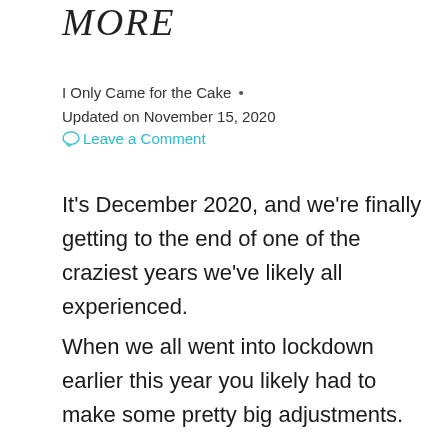MORE
I Only Came for the Cake •
Updated on November 15, 2020
Leave a Comment
It's December 2020, and we're finally getting to the end of one of the craziest years we've likely all experienced.
When we all went into lockdown earlier this year you likely had to make some pretty big adjustments.